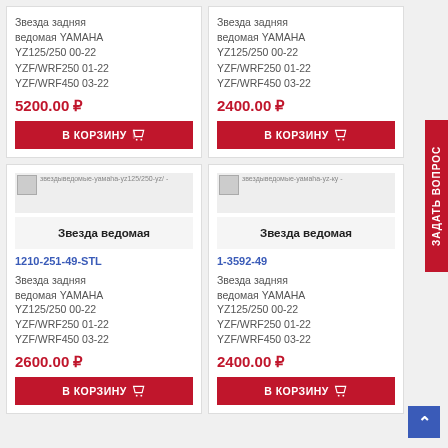Звезда задняя ведомая YAMAHA YZ125/250 00-22 YZF/WRF250 01-22 YZF/WRF450 03-22
5200.00 ₽
В КОРЗИНУ
Звезда задняя ведомая YAMAHA YZ125/250 00-22 YZF/WRF250 01-22 YZF/WRF450 03-22
2400.00 ₽
В КОРЗИНУ
[Figure (photo): Product image placeholder with URL text]
Звезда ведомая
1210-251-49-STL
Звезда задняя ведомая YAMAHA YZ125/250 00-22 YZF/WRF250 01-22 YZF/WRF450 03-22
2600.00 ₽
В КОРЗИНУ
[Figure (photo): Product image placeholder with URL text]
Звезда ведомая
1-3592-49
Звезда задняя ведомая YAMAHA YZ125/250 00-22 YZF/WRF250 01-22 YZF/WRF450 03-22
2400.00 ₽
В КОРЗИНУ